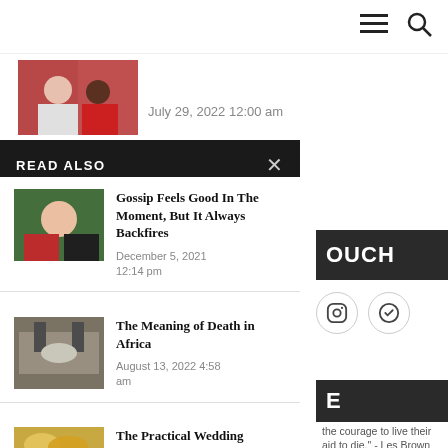≡  🔍
July 29, 2022 12:00 am
READ ALSO
Gossip Feels Good In The Moment, But It Always Backfires
December 5, 2021 12:14 pm
The Meaning of Death in Africa
August 13, 2022 4:58 am
The Practical Wedding Planning Guide for a
OUCH
E
the courage to live their
aid to die." - Les Brown